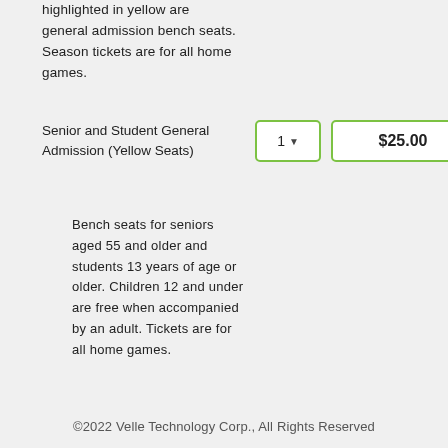highlighted in yellow are general admission bench seats. Season tickets are for all home games.
Senior and Student General Admission (Yellow Seats)
Bench seats for seniors aged 55 and older and students 13 years of age or older. Children 12 and under are free when accompanied by an adult. Tickets are for all home games.
©2022 Velle Technology Corp., All Rights Reserved